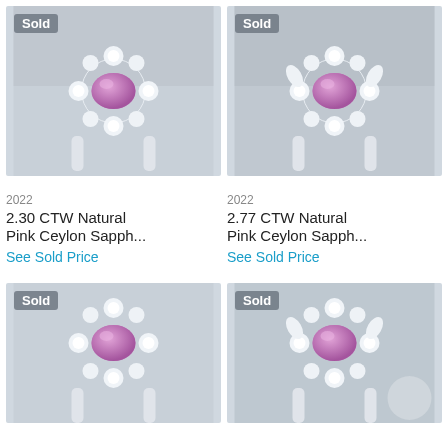[Figure (photo): Pink Ceylon Sapphire ring with diamond halo surround, white gold setting, 'Sold' badge in top-left corner]
[Figure (photo): Pink Ceylon Sapphire ring with diamond halo surround, white gold setting, 'Sold' badge in top-left corner]
2022
2.30 CTW Natural Pink Ceylon Sapph...
See Sold Price
2022
2.77 CTW Natural Pink Ceylon Sapph...
See Sold Price
[Figure (photo): Pink Ceylon Sapphire ring with diamond halo surround, white gold setting, 'Sold' badge in top-left corner]
[Figure (photo): Pink Ceylon Sapphire ring with diamond halo surround, white gold setting, 'Sold' badge in top-left corner]